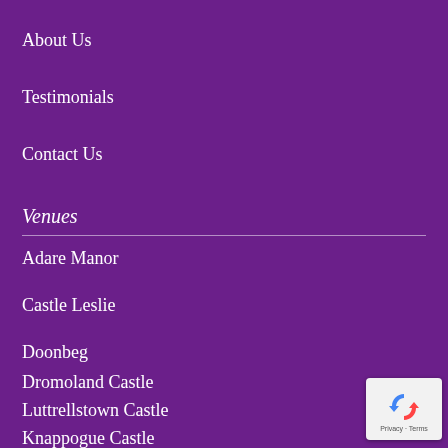About Us
Testimonials
Contact Us
Venues
Adare Manor
Castle Leslie
Doonbeg
Dromoland Castle
Luttrellstown Castle
Knappogue Castle
[Figure (logo): reCAPTCHA badge with Privacy and Terms links]